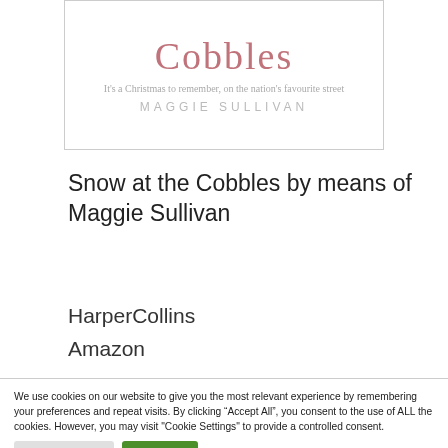[Figure (illustration): Book cover for 'Snow at the Cobbles' by Maggie Sullivan. Pink/rose title text reading 'Cobbles', subtitle 'It's a Christmas to remember, on the nation's favourite street', author name 'MAGGIE SULLIVAN' in grey uppercase letters. White background with border.]
Snow at the Cobbles by means of Maggie Sullivan
HarperCollins
Amazon
We use cookies on our website to give you the most relevant experience by remembering your preferences and repeat visits. By clicking "Accept All", you consent to the use of ALL the cookies. However, you may visit "Cookie Settings" to provide a controlled consent.